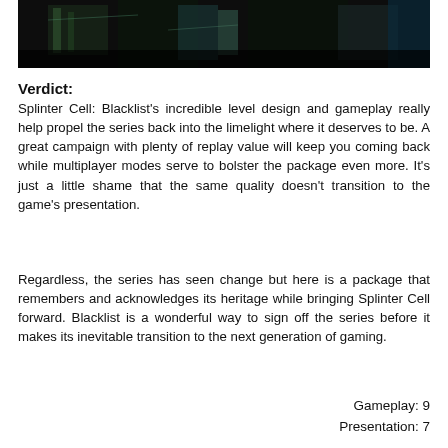[Figure (screenshot): Dark screenshot from Splinter Cell: Blacklist game showing a dimly lit environment with teal/green lighting]
Verdict:
Splinter Cell: Blacklist's incredible level design and gameplay really help propel the series back into the limelight where it deserves to be. A great campaign with plenty of replay value will keep you coming back while multiplayer modes serve to bolster the package even more. It's just a little shame that the same quality doesn't transition to the game's presentation.
Regardless, the series has seen change but here is a package that remembers and acknowledges its heritage while bringing Splinter Cell forward. Blacklist is a wonderful way to sign off the series before it makes its inevitable transition to the next generation of gaming.
Gameplay: 9
Presentation: 7